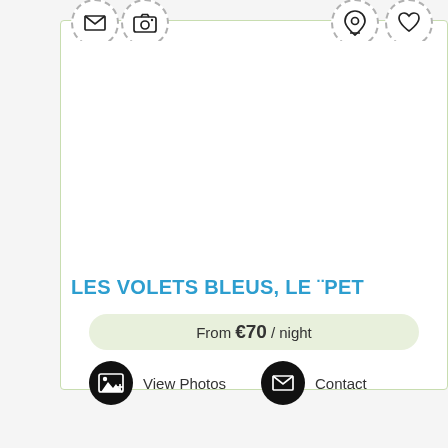[Figure (screenshot): Accommodation listing card for 'LES VOLETS BLEUS, LE ¨PET' showing price from €70/night with View Photos and Contact buttons, and dashed-circle icons for email, camera, location pin, and heart at top]
LES VOLETS BLEUS, LE ¨PET
From €70 / night
View Photos
Contact
[Figure (screenshot): Partial second listing card showing camera and location pin dashed-circle icons at top]